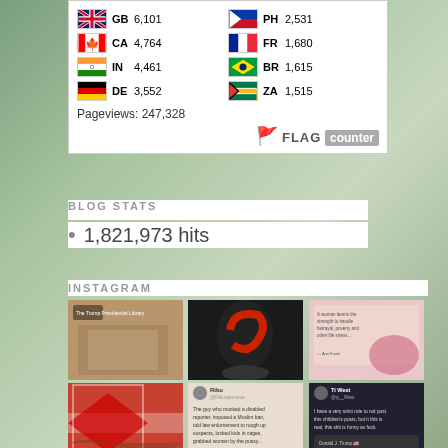| Flag | Code | Count | Flag | Code | Count |
| --- | --- | --- | --- | --- | --- |
| GB flag | GB | 6,101 | PH flag | PH | 2,531 |
| CA flag | CA | 4,764 | FR flag | FR | 1,680 |
| IN flag | IN | 4,461 | BR flag | BR | 1,615 |
| DE flag | DE | 3,552 | ZA flag | ZA | 1,515 |
Pageviews: 247,328
FLAG counter
BLOG STATS
1,821,973 hits
INSTAGRAM
[Figure (photo): Grid of 6 Instagram post thumbnails: (1) The Trump Presidential Library post showing scattered documents, (2) person in black suit with red bow, (3) inspirational quote over floral background, (4) Puerto Rican flag waving, (5) tweet text about mocking disabled reporter, Muslim ban etc., (6) dark tweet about children's posts being funny]